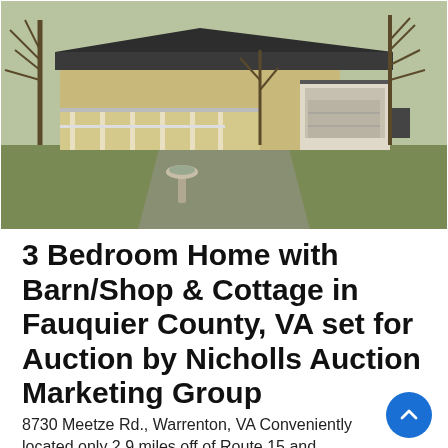[Figure (photo): Exterior photo of a single-story ranch-style home with a covered porch, attached garage to the right, bare trees, brown grass lawn, and a bird bath in the foreground. Winter/early spring setting.]
3 Bedroom Home with Barn/Shop & Cottage in Fauquier County, VA set for Auction by Nicholls Auction Marketing Group
8730 Meetze Rd., Warrenton, VA Conveniently located only 2.9 miles off of Route 15 and minutes